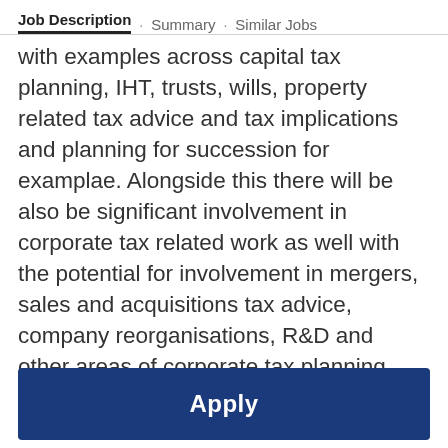Job Description · Summary · Similar Jobs
with examples across capital tax planning, IHT, trusts, wills, property related tax advice and tax implications and planning for succession for examplae. Alongside this there will be also be significant involvement in corporate tax related work as well with the potential for involvement in mergers, sales and acquisitions tax advice, company reorganisations, R&D and other areas of corporate tax planning. You will look to grow and develop the firms tax department, managing the team. There will be a clear progression path on offer as well for the right individual seeking a
Apply